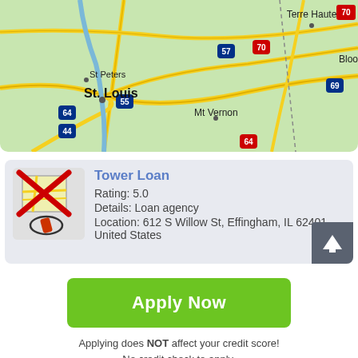[Figure (map): Road map showing St. Louis, St Peters, Mt Vernon, Terre Haute, Bloomington area with highway markers 55, 64, 44, 57, 70, 69]
[Figure (screenshot): Tower Loan business listing card with map pin icon crossed out in red, showing rating 5.0, details as Loan agency, location 612 S Willow St, Effingham, IL 62401, United States, with an up-arrow button]
Apply Now
Applying does NOT affect your credit score!
No credit check to apply.